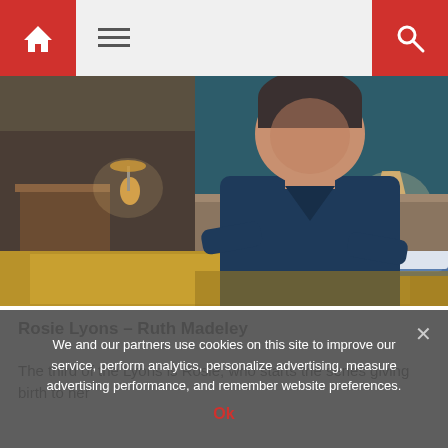Navigation bar with home icon, menu icon, and search icon
[Figure (photo): A man in a dark navy long-sleeve shirt sitting on the edge of a bed in a bedroom. The room has teal/blue walls, a lamp on a bedside table, yellow bedding, and blue pillows. Another part of the room shows a desk area on the left.]
Rosie Lyons – Ruth Madeley
The third of the Lyons is Rosie, who starts the series giving birth to her